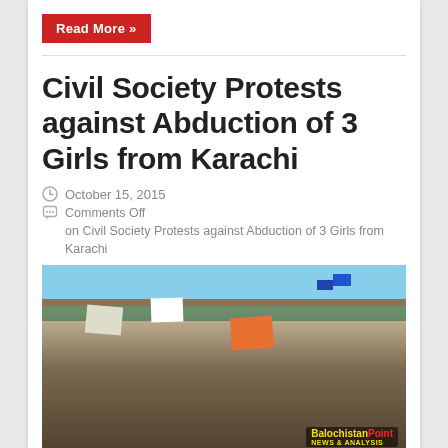Read More »
Civil Society Protests against Abduction of 3 Girls from Karachi
October 15, 2015
Comments Off on Civil Society Protests against Abduction of 3 Girls from Karachi
[Figure (photo): Protest crowd scene with people holding signs including an orange placard; a man in brown vest stands prominently; Balochistan Point watermark in bottom right corner]
Adnan Aamir Karachi – Different groups of Civil